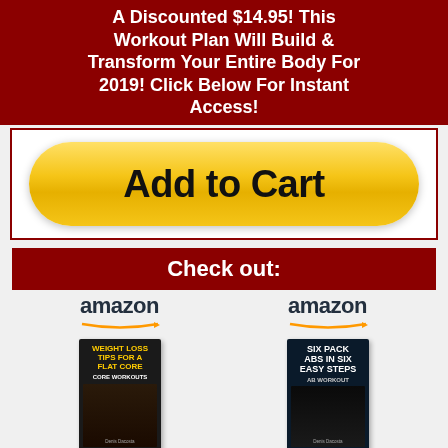A Discounted $14.95! This Workout Plan Will Build & Transform Your Entire Body For 2019! Click Below For Instant Access!
[Figure (illustration): Yellow Add to Cart button styled like a PayPal/Amazon payment button, with rounded rectangle shape and gradient yellow background]
Check out:
[Figure (illustration): Amazon logo with orange arrow swoosh]
[Figure (illustration): Amazon logo with orange arrow swoosh]
[Figure (photo): Book cover: Weight Loss Tips For A Flat Core - Core Workouts]
[Figure (photo): Book cover: Six Pack Abs In Six Easy Steps - ab workout]